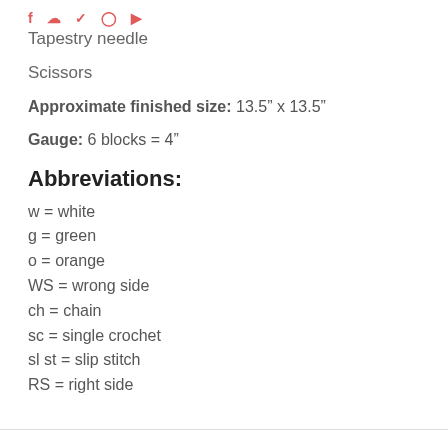f p y o a (social media icons)
Tapestry needle
Scissors
Approximate finished size: 13.5″ x 13.5″
Gauge: 6 blocks = 4″
Abbreviations:
w = white
g = green
o = orange
WS = wrong side
ch = chain
sc = single crochet
sl st = slip stitch
RS = right side